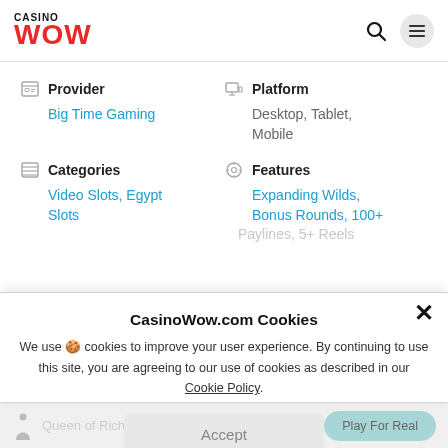CASINO WOW
Provider: Big Time Gaming | Platform: Desktop, Tablet, Mobile | Categories: Video Slots, Egypt Slots | Features: Expanding Wilds, Bonus Rounds, 100+ Paylines, 5+ Reels
CasinoWow.com Cookies
We use 🍪 cookies to improve your user experience. By continuing to use this site, you are agreeing to our use of cookies as described in our Cookie Policy.
Accept
Queen of Riches   Play For Real